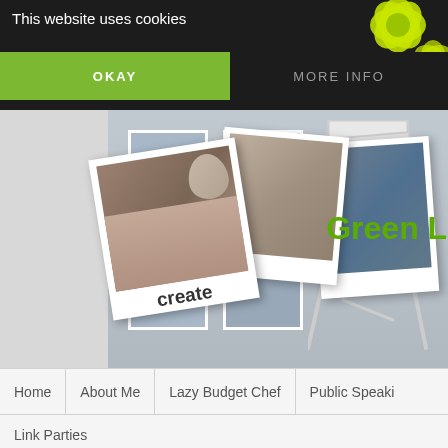This website uses cookies
OKAY
MORE INFO
[Figure (screenshot): Website header screenshot showing polaroid photos with 'create' text, decorative green flower logo top right, and partial green text 'Green Li...' on right side]
Green Li
Home
About Me
Lazy Budget Chef
Public Speaki
Link Parties
[Figure (infographic): Social share buttons grid: Twitter (blue), Facebook (dark blue), Email/envelope (gray), WhatsApp (green), SMS (blue), Share/rotate icon (blue)]